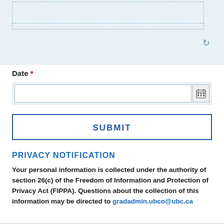Date *
SUBMIT
PRIVACY NOTIFICATION
Your personal information is collected under the authority of section 26(c) of the Freedom of Information and Protection of Privacy Act (FIPPA). Questions about the collection of this information may be directed to gradadmin.ubco@ubc.ca